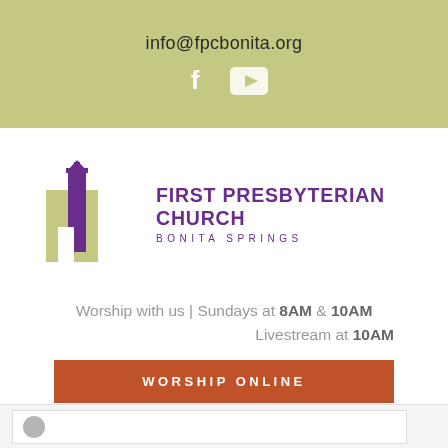info@fpcbonita.org
[Figure (logo): Facebook and YouTube social media icons in white on olive/khaki background]
[Figure (logo): First Presbyterian Church Bonita Springs logo — olive rectangle building shape with purple church steeple and cross]
FIRST PRESBYTERIAN CHURCH BONITA SPRINGS
Worship with us | Sundays at 8AM & 10AM
Livestream at 10AM
WORSHIP ONLINE
[Figure (screenshot): Partial bottom strip showing a card or post preview with a grey circle icon]